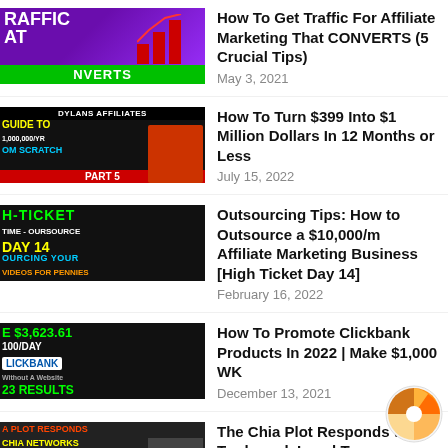[Figure (screenshot): Thumbnail: traffic converts affiliate marketing, purple background with bar chart graphic and green NVERTS text]
How To Get Traffic For Affiliate Marketing That CONVERTS (5 Crucial Tips)
May 3, 2021
[Figure (screenshot): Thumbnail: Dylans Affiliates Guide To 1,000,000/YR From Scratch Part 5, black background with person in red]
How To Turn $399 Into $1 Million Dollars In 12 Months or Less
July 15, 2022
[Figure (screenshot): Thumbnail: High Ticket Day 14 Outsourcing Your Videos For Pennies]
Outsourcing Tips: How to Outsource a $10,000/m Affiliate Marketing Business [High Ticket Day 14]
February 16, 2022
[Figure (screenshot): Thumbnail: Earn $3,623.61 $100/DAY Clickbank Without A Website 23 Results]
How To Promote Clickbank Products In 2022 | Make $1,000 WK
December 13, 2021
[Figure (screenshot): Thumbnail: A Plot Responds Chia Networks Remark Threats]
The Chia Plot Responds to Trademark Legal T
June 10, 2021